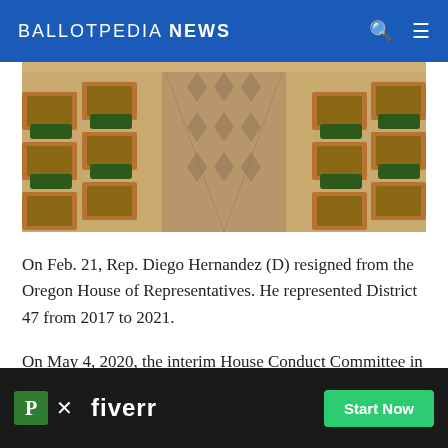BALLOTPEDIA NEWS
[Figure (photo): Interior of a legislative chamber showing rows of wooden desks and chairs with ornate patterned carpet, viewed from the center aisle looking toward the front.]
On Feb. 21, Rep. Diego Hernandez (D) resigned from the Oregon House of Representatives. He represented District 47 from 2017 to 2021.
On May 4, 2020, the interim House Conduct Committee in the Oregon House of Representatives opened an investigation after seven individuals accused harassment and creating a hostile workplace